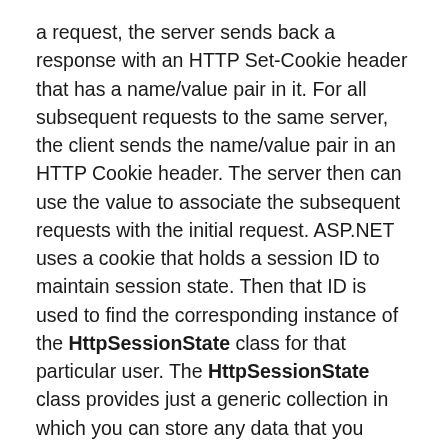a request, the server sends back a response with an HTTP Set-Cookie header that has a name/value pair in it. For all subsequent requests to the same server, the client sends the name/value pair in an HTTP Cookie header. The server then can use the value to associate the subsequent requests with the initial request. ASP.NET uses a cookie that holds a session ID to maintain session state. Then that ID is used to find the corresponding instance of the HttpSessionState class for that particular user. The HttpSessionState class provides just a generic collection in which you can store any data that you want.
The other mechanism that ASP.NET uses for maintaining session state works without cookies. Some browsers do not support cookies or are not configured to keep and send cookies. ASP.NET provides a mechanism for getting around this problem by redirecting a request to a URL that has the ASP.NET session ID embedded in it. When a request is